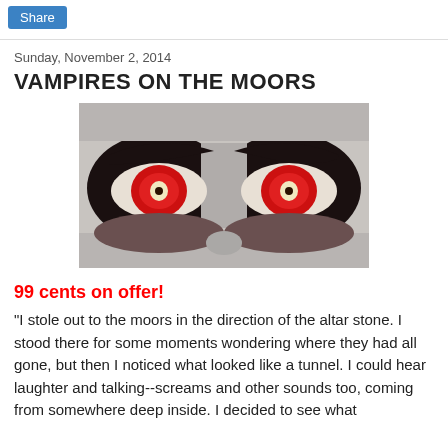Share
Sunday, November 2, 2014
VAMPIRES ON THE MOORS
[Figure (photo): Close-up of vampire eyes with red irises and dramatic dark eye makeup against pale white skin background]
99 cents on offer!
"I stole out to the moors in the direction of the altar stone. I stood there for some moments wondering where they had all gone, but then I noticed what looked like a tunnel. I could hear laughter and talking--screams and other sounds too, coming from somewhere deep inside. I decided to see what